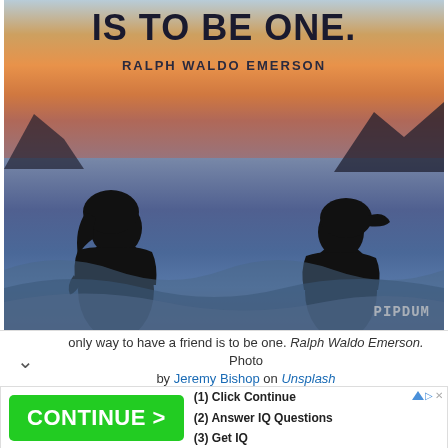[Figure (photo): Two silhouetted figures facing each other standing in water at sunset, with a warm orange/pink sky and calm blue water behind them. Text overlay at top reads 'IS TO BE ONE.' and 'RALPH WALDO EMERSON'. Watermark 'PIPDUM' in lower right corner.]
only way to have a friend is to be one. Ralph Waldo Emerson. Photo by Jeremy Bishop on Unsplash
[Figure (infographic): Advertisement banner with green 'CONTINUE >' button and steps: (1) Click Continue, (2) Answer IQ Questions, (3) Get IQ]